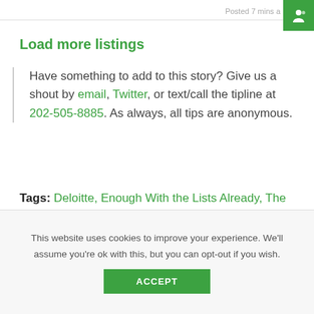Posted 7 mins a
Load more listings
Have something to add to this story? Give us a shout by email, Twitter, or text/call the tipline at 202-505-8885. As always, all tips are anonymous.
Tags: Deloitte, Enough With the Lists Already, The Fortune 100 Best Companies to Work For
This website uses cookies to improve your experience. We'll assume you're ok with this, but you can opt-out if you wish.